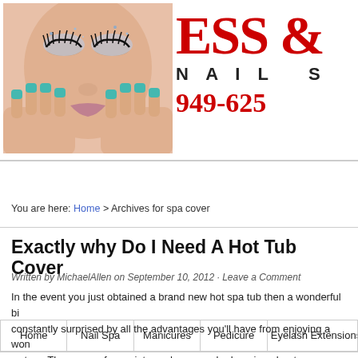[Figure (photo): Woman with teal nails and glittery eye makeup holding hands to face, nail spa advertisement photo]
[Figure (logo): ESS nail spa logo with red text ESS, subtitle NAIL S, and phone number 949-625]
Home | Nail Spa | Manicures | Pedicure | Eyelash Extensions
You are here: Home > Archives for spa cover
Exactly why Do I Need A Hot Tub Cover
Written by MichaelAllen on September 10, 2012 · Leave a Comment
In the event you just obtained a brand new hot spa tub then a wonderful bi... constantly surprised by all the advantages you'll have from enjoying a won... waters. There are a few points you're gonna be learning about your brand-... do with upkeep. Keeping a body of water that doesn't move or have got an... that's hot could invite several problems. Generally by means of bacteria an... of the greatest methods for you to need to deal with much less maintenance...